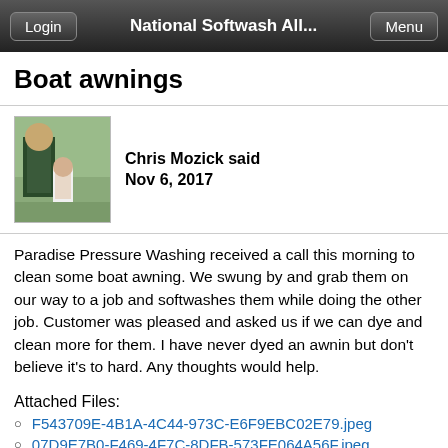Login | National Softwash All... | Menu
Boat awnings
Chris Mozick said
Nov 6, 2017
[Figure (photo): Profile photo of Chris Mozick showing two people outdoors]
Paradise Pressure Washing received a call this morning to clean some boat awning. We swung by and grab them on our way to a job and softwashes them while doing the other job. Customer was pleased and asked us if we can dye and clean more for them. I have never dyed an awnin but don't believe it's to hard. Any thoughts would help.
Attached Files:
F543709E-4B1A-4C44-973C-E6F9EBC02E79.jpeg
07D9E7B0-F469-4F7C-8DFB-573FE064A56F.jpeg
27E517CC-BEFE-474D-A9F3-520E3EE9008B.jpeg
15AEFDF4-6F4F-4C9F-AAFB-